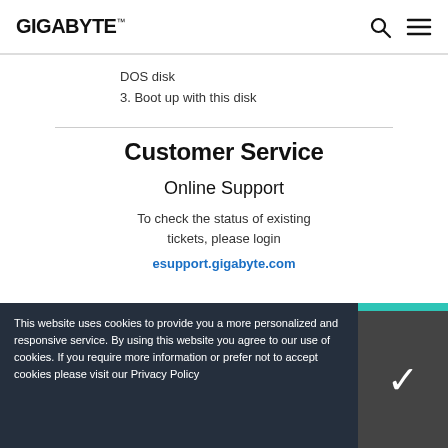GIGABYTE
DOS disk
3. Boot up with this disk
Customer Service
Online Support
To check the status of existing tickets, please login esupport.gigabyte.com
This website uses cookies to provide you a more personalized and responsive service. By using this website you agree to our use of cookies. If you require more information or prefer not to accept cookies please visit our Privacy Policy